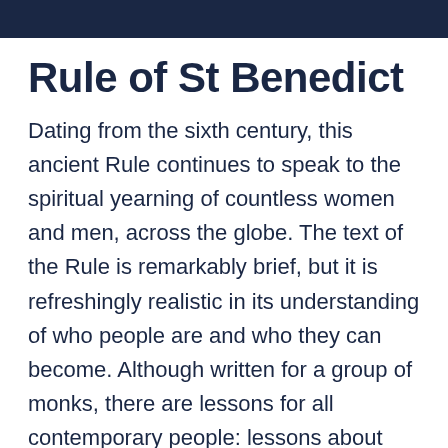Rule of St Benedict
Dating from the sixth century, this ancient Rule continues to speak to the spiritual yearning of countless women and men, across the globe. The text of the Rule is remarkably brief, but it is refreshingly realistic in its understanding of who people are and who they can become. Although written for a group of monks, there are lessons for all contemporary people: lessons about mercy and humility; about